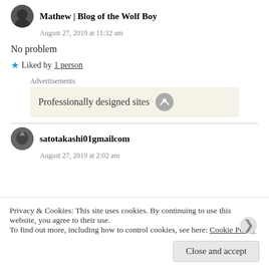Mathew | Blog of the Wolf Boy
August 27, 2019 at 11:32 am
No problem
Liked by 1 person
Advertisements
Professionally designed sites
satotakashi01gmailcom
August 27, 2019 at 2:02 am
Privacy & Cookies: This site uses cookies. By continuing to use this website, you agree to their use. To find out more, including how to control cookies, see here: Cookie Policy
Close and accept